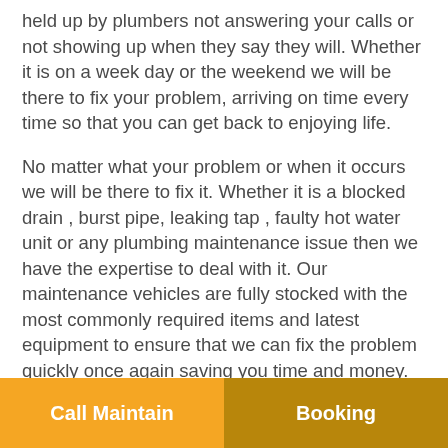held up by plumbers not answering your calls or not showing up when they say they will. Whether it is on a week day or the weekend we will be there to fix your problem, arriving on time every time so that you can get back to enjoying life.
No matter what your problem or when it occurs we will be there to fix it. Whether it is a blocked drain , burst pipe, leaking tap , faulty hot water unit or any plumbing maintenance issue then we have the expertise to deal with it. Our maintenance vehicles are fully stocked with the most commonly required items and latest equipment to ensure that we can fix the problem quickly once again saving you time and money.
Call Maintain | Booking